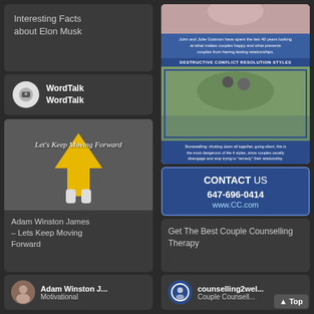Interesting Facts about Elon Musk
WordTalk
WordTalk
[Figure (photo): Photo of feet standing on pavement with a yellow arrow painted on the ground pointing forward, with text overlay: Let's Keep Moving Forward]
Adam Winston James – Lets Keep Moving Forward
Adam Winston J...
Motivational
[Figure (screenshot): Brochure preview showing couple counselling content with blue headers, photos of couples, and text about destructive conflict resolution styles]
[Figure (infographic): Contact Us panel with phone number 647-696-0414 and website www.CC.com on blue background]
Get The Best Couple Counselling Therapy
counselling2wel...
Couple Counsell...
Top